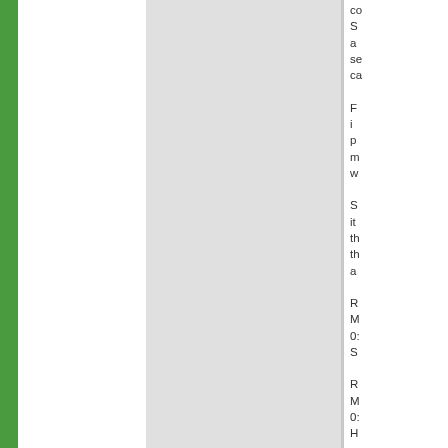co S a se ca
F i p m w
S it th th a
R M 0: S
R M 0: H w